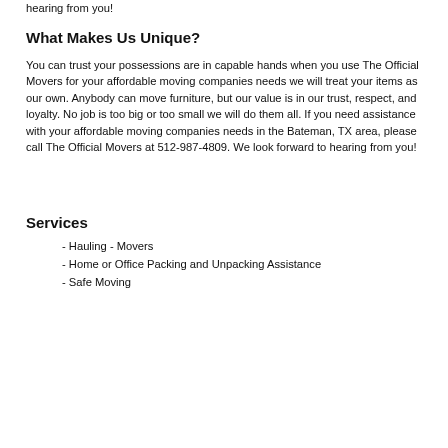hearing from you!
What Makes Us Unique?
You can trust your possessions are in capable hands when you use The Official Movers for your affordable moving companies needs we will treat your items as our own. Anybody can move furniture, but our value is in our trust, respect, and loyalty. No job is too big or too small we will do them all. If you need assistance with your affordable moving companies needs in the Bateman, TX area, please call The Official Movers at 512-987-4809. We look forward to hearing from you!
Services
- Hauling - Movers
- Home or Office Packing and Unpacking Assistance
- Safe Moving